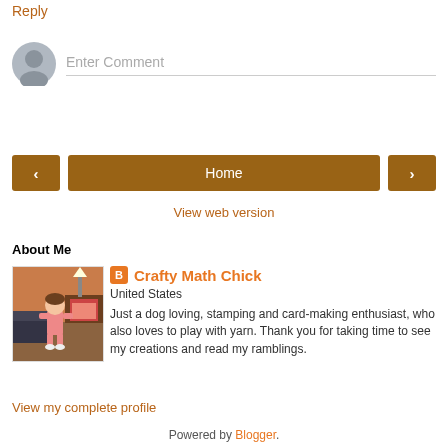Reply
Enter Comment
Home
View web version
About Me
[Figure (illustration): Profile avatar of Crafty Math Chick — cartoon illustration of a girl in pink pajamas standing in front of a fireplace]
Crafty Math Chick
United States
Just a dog loving, stamping and card-making enthusiast, who also loves to play with yarn. Thank you for taking time to see my creations and read my ramblings.
View my complete profile
Powered by Blogger.